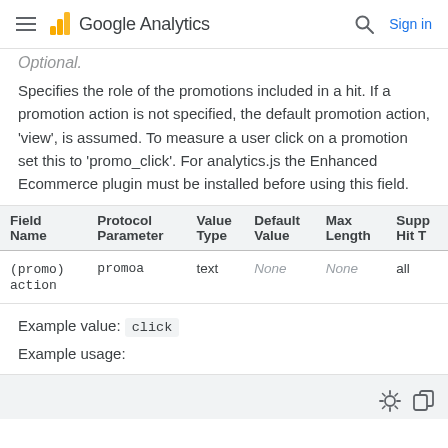Google Analytics  Sign in
Optional.
Specifies the role of the promotions included in a hit. If a promotion action is not specified, the default promotion action, 'view', is assumed. To measure a user click on a promotion set this to 'promo_click'. For analytics.js the Enhanced Ecommerce plugin must be installed before using this field.
| Field Name | Protocol Parameter | Value Type | Default Value | Max Length | Supp Hit T |
| --- | --- | --- | --- | --- | --- |
| (promo)
action | promoa | text | None | None | all |
Example value: click
Example usage: